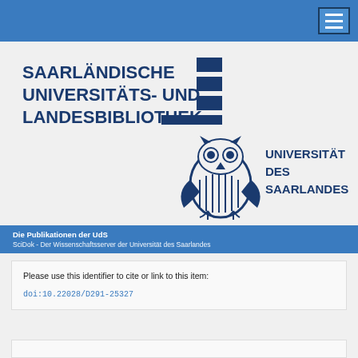[Figure (logo): Saarländische Universitäts- und Landesbibliothek logo with text and geometric blue shapes (stacked rectangles forming a stylized bookmark/building)]
[Figure (logo): Universität des Saarlandes logo with stylized owl icon and text UNIVERSITÄT DES SAARLANDES]
Die Publikationen der UdS
SciDok - Der Wissenschaftsserver der Universität des Saarlandes
Please use this identifier to cite or link to this item:
doi:10.22028/D291-25327